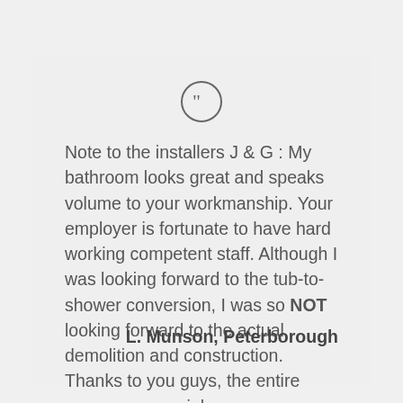[Figure (illustration): Quotation mark icon inside a circle, centered at top of card]
Note to the installers J & G : My bathroom looks great and speaks volume to your workmanship. Your employer is fortunate to have hard working competent staff. Although I was looking forward to the tub-to-shower conversion, I was so NOT looking forward to the actual demolition and construction. Thanks to you guys, the entire process was painless.
L. Munson, Peterborough